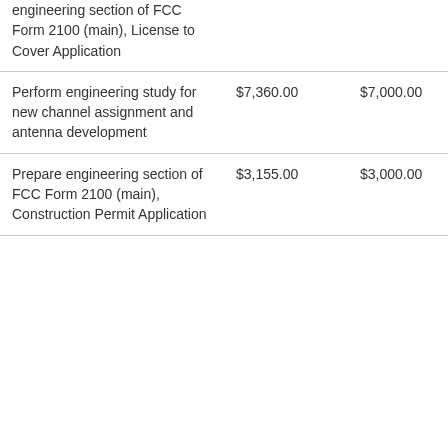| engineering section of FCC Form 2100 (main), License to Cover Application |  |  |  |
| Perform engineering study for new channel assignment and antenna development | $7,360.00 | $7,000.00 | NA |
| Prepare engineering section of FCC Form 2100 (main), Construction Permit Application | $3,155.00 | $3,000.00 | NA |